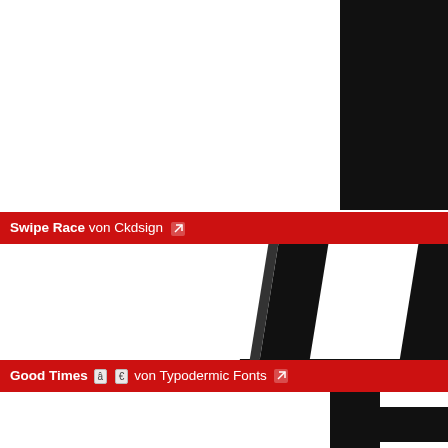[Figure (illustration): Large cropped black letters 'HOS' (partial, top cut off) on white background — font preview of Swipe Race typeface]
Swipe Race von Ckdsign [external link icon]
[Figure (illustration): Large cropped black italic letters 'H' partially visible, italic slanted style — font preview of Swipe Race typeface]
Good Times â € von Typodermic Fonts [external link icon]
[Figure (illustration): Large cropped black letters 'HO' partially visible, geometric sans-serif style — font preview of Good Times typeface]